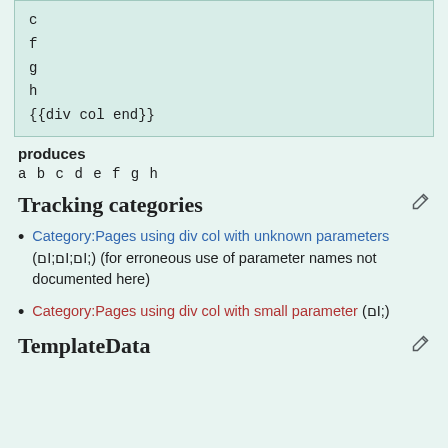c
f
g
h
{{div col end}}
produces
a b c d e f g h
Tracking categories
Category:Pages using div col with unknown parameters (000) (for erroneous use of parameter names not documented here)
Category:Pages using div col with small parameter (0)
TemplateData